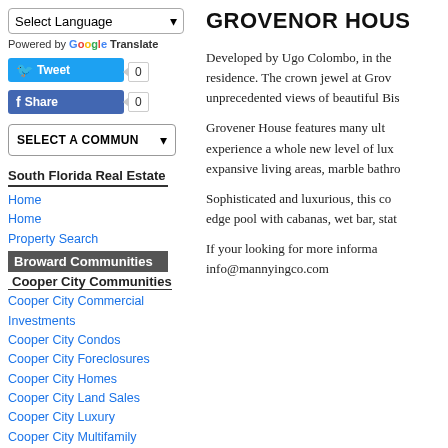[Figure (screenshot): Language selector dropdown with 'Select Language' text and dropdown arrow]
Powered by Google Translate
[Figure (screenshot): Twitter Tweet button with count badge showing 0, and Facebook Share button with count badge showing 0]
[Figure (screenshot): SELECT A COMMUNITY dropdown selector]
South Florida Real Estate
Home
Home
Property Search
Broward Communities
Cooper City Communities
Cooper City Commercial Investments
Cooper City Condos
Cooper City Foreclosures
Cooper City Homes
Cooper City Land Sales
Cooper City Luxury
Cooper City Multifamily
Cooper City Pet Friendly Rentals
Cooper City Rentals
Coral Springs Communities
GROVENOR HOUS
Developed by Ugo Colombo, in the residence. The crown jewel at Grov unprecedented views of beautiful Bis
Grovener House features many ult experience a whole new level of lux expansive living areas, marble bathro
Sophisticated and luxurious, this co edge pool with cabanas, wet bar, stat
If your looking for more informa info@mannyingco.com